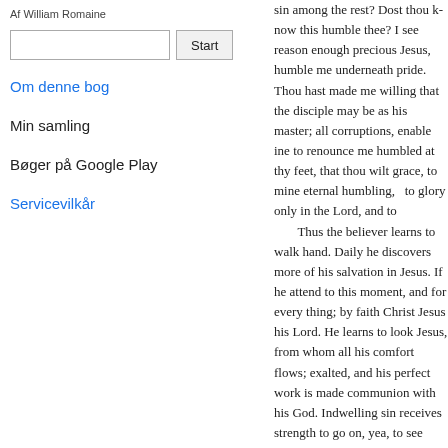Af William Romaine
[Search box] Start
Om denne bog
Min samling
Bøger på Google Play
Servicevilkår
sin among the rest? Dost thou k... this humble thee? I see reason e... precious Jesus, humble me under... pride. Thou hast made me willin... the disciple may be as his master... corruptions, enable ine to renoun... me humbled at thy feet, that thou... grace, to mine eternal humbling,... to glory only in the Lord, and to...

Thus the believer learns to wa... hand. Daily he discovers more o... salvation in Jesus. If he attend to... moment, and for every thing; by... Christ Jesus his Lord. He learns ... Jesus, from whom all his comfor... exalted, and his perfect work is n... communion with his God. Indwe... receives strength to go on, yea, t... nature condemned and dead in la...

from his other sins. Guilt is the n... conscience, then the cross grows... then it does not stop the believer... thee, my Lord, of this I have so...